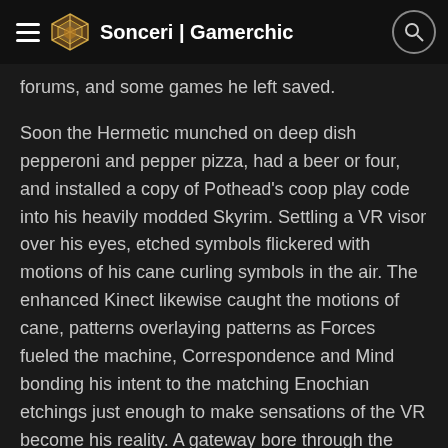Sonceri | Gamerchic
forums, and some games he left saved.
Soon the Hermetic munched on deep dish pepperoni and pepper pizza, had a beer or four, and installed a copy of Pothead's coop play code into his heavily modded Skyrim. Settling a VR visor over his eyes, etched symbols flickered with motions of his cane curling symbols in the air. The enhanced Kinect likewise caught the motions of cane, patterns overlaying patterns as Forces fueled the machine, Correspondence and Mind bonding his intent to the matching Enochian etchings just enough to make sensations of the VR become his reality. A gateway bore through the Gauntlet as a tunnel between himself, the messy living room around him, and the realm he crafted in his version of Skyrim. Without needing to jettison himself physically, he moved between worlds with enough realign…